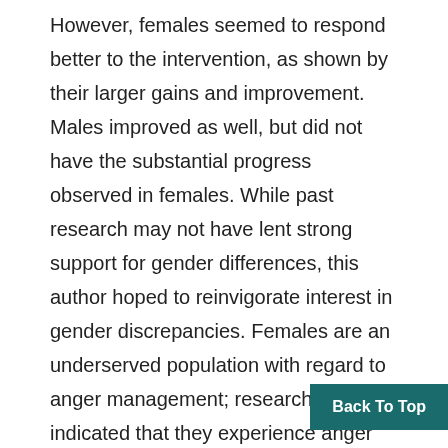However, females seemed to respond better to the intervention, as shown by their larger gains and improvement. Males improved as well, but did not have the substantial progress observed in females. While past research may not have lent strong support for gender differences, this author hoped to reinvigorate interest in gender discrepancies. Females are an underserved population with regard to anger management; research has indicated that they experience anger sometimes at a rate paralleling or surpassing males (Cross & Campbell, 2011). However, due to societal stigma and cultural biases, many fe... not receive anger management services.
Back To Top